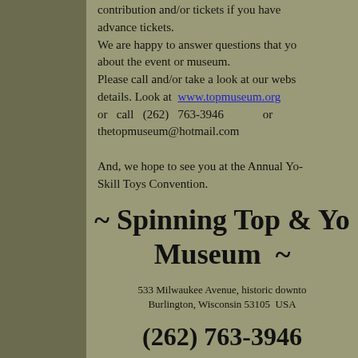contribution and/or tickets if you have advance tickets. We are happy to answer questions that you about the event or museum. Please call and/or take a look at our website for details. Look at www.topmuseum.org or call (262) 763-3946 or thetopmuseum@hotmail.com

And, we hope to see you at the Annual Yo- Skill Toys Convention.
~ Spinning Top & Yo Museum ~
533 Milwaukee Avenue, historic downtown Burlington, Wisconsin 53105 USA
(262) 763-3946